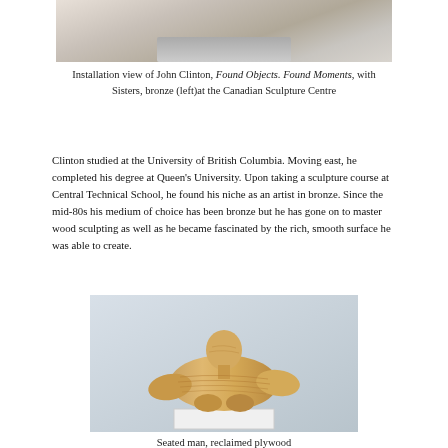[Figure (photo): Installation view of John Clinton artwork at the Canadian Sculpture Centre, partially visible at top of page]
Installation view of John Clinton, Found Objects. Found Moments, with Sisters, bronze (left)at the Canadian Sculpture Centre
Clinton studied at the University of British Columbia. Moving east, he completed his degree at Queen's University. Upon taking a sculpture course at Central Technical School, he found his niche as an artist in bronze. Since the mid-80s his medium of choice has been bronze but he has gone on to master wood sculpting as well as he became fascinated by the rich, smooth surface he was able to create.
[Figure (photo): Seated man sculpture made from reclaimed plywood, showing wood grain texture in a simplified human figure seated on a white pedestal]
Seated man, reclaimed plywood